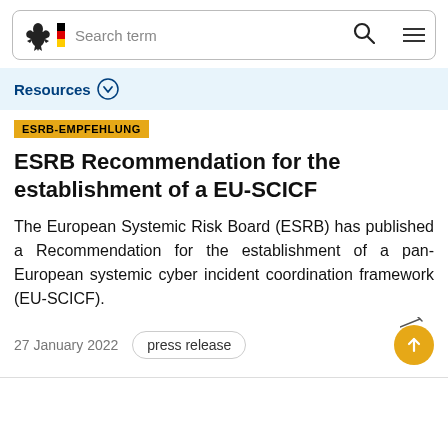Search term
Resources
ESRB-EMPFEHLUNG
ESRB Recommendation for the establishment of a EU-SCICF
The European Systemic Risk Board (ESRB) has published a Recommendation for the establishment of a pan-European systemic cyber incident coordination framework (EU-SCICF).
27 January 2022   press release